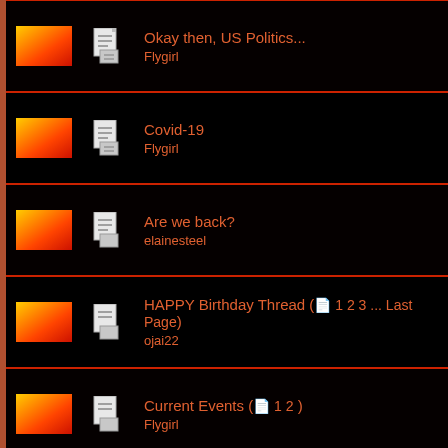Okay then, US Politics...
Flygirl
Covid-19
Flygirl
Are we back?
elainesteel
HAPPY Birthday Thread ( 1 2 3 ... Last Page)
ojai22
Current Events ( 1 2 )
Flygirl
Father's Day
LittleMonkeyDog
Too, Too Funny! ( 1 2 3 )
ojai22
The NEW Paradigm
ojai22
Facebook - Am I Right? ( 1 2 )
Sassy Devil
LinkedIn
Cassiebsg
New (old?) interview
Melli